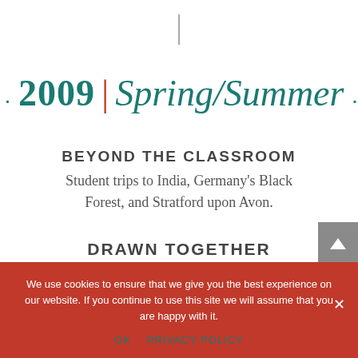· 2009 | Spring/Summer ·
BEYOND THE CLASSROOM
Student trips to India, Germany's Black Forest, and Stratford upon Avon.
DRAWN TOGETHER
We use cookies to ensure that we give you the best experience on our website. If you continue to use this site we will assume that you are happy with it.
OK  PRIVACY POLICY